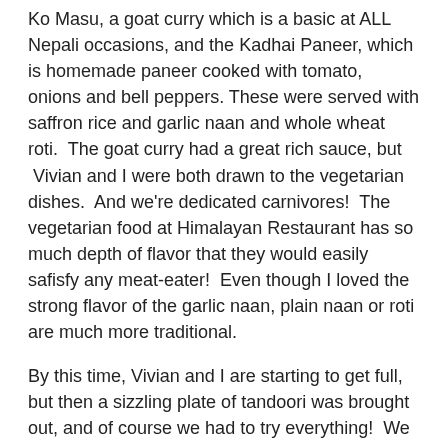Ko Masu, a goat curry which is a basic at ALL Nepali occasions, and the Kadhai Paneer, which is homemade paneer cooked with tomato, onions and bell peppers. These were served with saffron rice and garlic naan and whole wheat roti.  The goat curry had a great rich sauce, but  Vivian and I were both drawn to the vegetarian dishes.  And we're dedicated carnivores!  The vegetarian food at Himalayan Restaurant has so much depth of flavor that they would easily safisfy any meat-eater!  Even though I loved the strong flavor of the garlic naan, plain naan or roti are much more traditional.
By this time, Vivian and I are starting to get full, but then a sizzling plate of tandoori was brought out, and of course we had to try everything!  We recommend the Mix Grill, which comes with tandoori chicken, chicken tikka, lamb kabob and fish tikka.  I'd never had fish tikka before, and with a meaty fish like mahi mahi, it was quite delicious!  MMM, love those sizzlin' onions!
As full as we were, of course we had to have dessert as